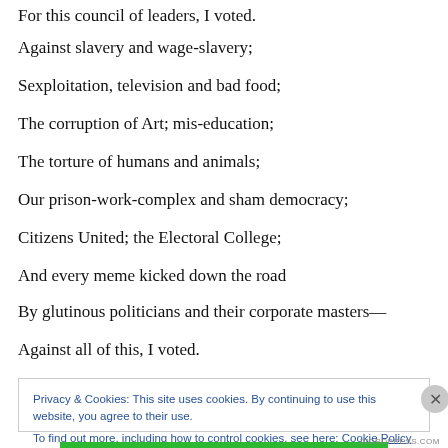For this council of leaders, I voted.
Against slavery and wage-slavery;
Sexploitation, television and bad food;
The corruption of Art; mis-education;
The torture of humans and animals;
Our prison-work-complex and sham democracy;
Citizens United; the Electoral College;
And every meme kicked down the road
By glutinous politicians and their corporate masters—
Against all of this, I voted.
Privacy & Cookies: This site uses cookies. By continuing to use this website, you agree to their use. To find out more, including how to control cookies, see here: Cookie Policy
Close and accept